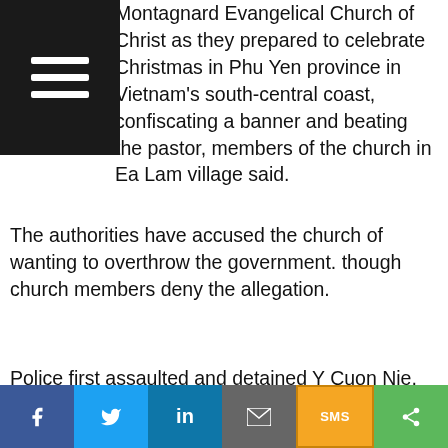Montagnard Evangelical Church of Christ as they prepared to celebrate Christmas in Phu Yen province in Vietnam's south-central coast, confiscating a banner and beating the pastor, members of the church in Ea Lam village said.
The authorities have accused the church of wanting to overthrow the government. though church members deny the allegation.
Police first assaulted and detained Y Cuon Nie, the church's pastor and a missionary, on Dec. 22 while he was at a printing shop to make the celebratory banners.
“When I was at Viet Long Printers to make a
[Figure (other): Hamburger menu button icon — three white horizontal lines on dark background]